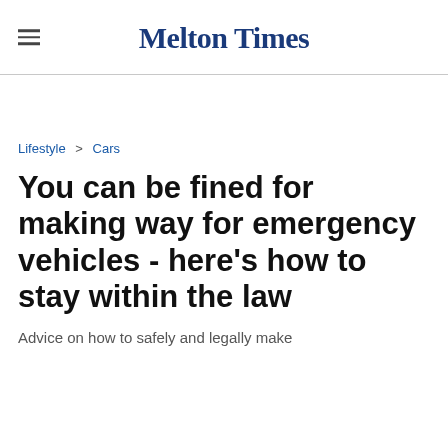Melton Times
Lifestyle > Cars
You can be fined for making way for emergency vehicles - here’s how to stay within the law
Advice on how to safely and legally make